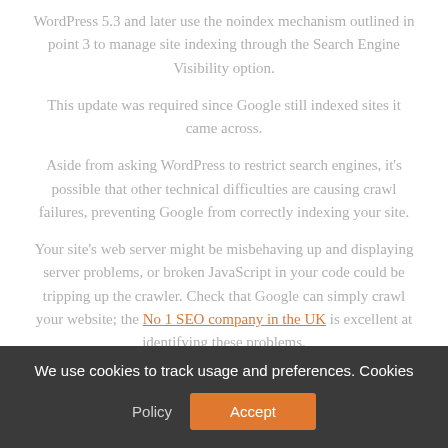WordPress 5.3 and later use the noindex mechanism outlined in point 3 to manage site indexing through the Search Engine Visibility option.
This update was required since Google still indexed sites it came across.
Aside from asking WordPress to restrict search engines, it's possible that other technical difficulties are causing crawl failures, preventing Google from correctly indexing your site.
Your site's web server might be misbehaving up and displaying server problems, or broken JavaScript in your code could be tripping up the crawler. Check that Google can simply crawl your website; the No 1 SEO company in the UK is excellent at identifying these problems.
How to Fix
We use cookies to track usage and preferences. Cookies Policy  Accept